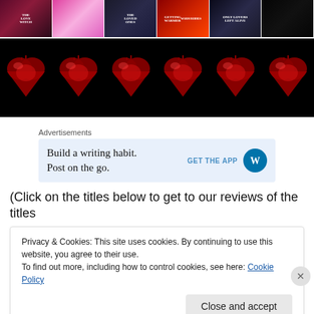[Figure (photo): A horizontal strip of six movie poster thumbnails: The Love Witch, a pink fashion image, The Loved Ones, Getting Warmer / Warm Bodies, Only Lovers Left Alive, and a dark poster with text.]
[Figure (photo): A dark banner image on black background showing six anatomical red hearts in a row.]
Advertisements
[Figure (screenshot): Advertisement box with light blue background. Left text: 'Build a writing habit. Post on the go.' Right side: 'GET THE APP' with WordPress circular logo icon.]
(Click on the titles below to get to our reviews of the titles
Privacy & Cookies: This site uses cookies. By continuing to use this website, you agree to their use.
To find out more, including how to control cookies, see here: Cookie Policy
Close and accept